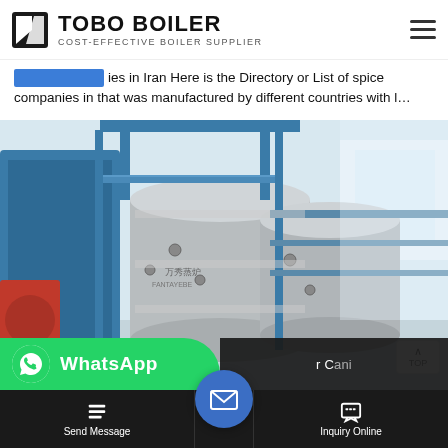TOBO BOILER — COST-EFFECTIVE BOILER SUPPLIER
ies in Iran Here is the Directory or List of spice companies in that was manufactured by different countries with l…
[Figure (photo): Industrial boiler equipment in a factory setting. Large blue and silver cylindrical boiler units with piping and metal walkways. A red burner component is visible on the left. Chinese characters visible on the equipment.]
WhatsApp
Send Message
Inquiry Online